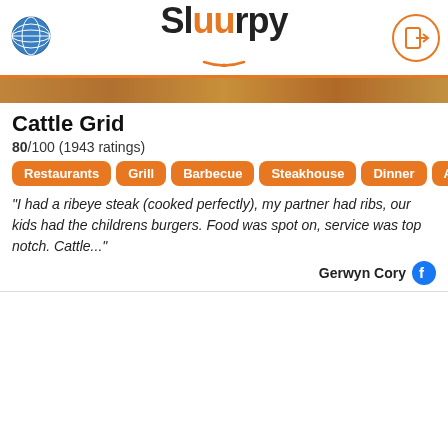Sluurpy
Cattle Grid
80/100 (1943 ratings)
Restaurants
Grill
Barbecue
Steakhouse
Dinner
Aft
"I had a ribeye steak (cooked perfectly), my partner had ribs, our kids had the childrens burgers. Food was spot on, service was top notch. Cattle..."
Gerwyn Cory
Zizzi - Windsor
80/100 (1872 ratings)